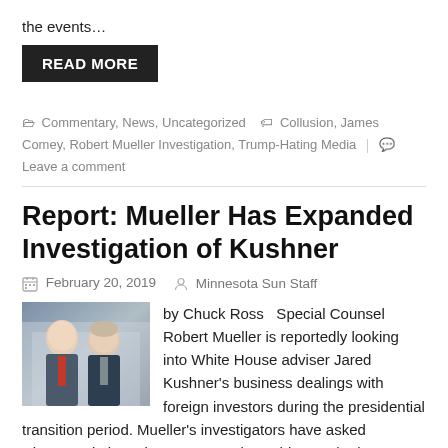the events…
READ MORE
🗁 Commentary, News, Uncategorized  🏷 Collusion, James Comey, Robert Mueller Investigation, Trump-Hating Media  💬 Leave a comment
Report: Mueller Has Expanded Investigation of Kushner
February 20, 2019   Minnesota Sun Staff
[Figure (photo): Photo of two men in suits, one younger with a red tie and one older, in front of a building]
by Chuck Ross   Special Counsel Robert Mueller is reportedly looking into White House adviser Jared Kushner's business dealings with foreign investors during the presidential transition period. Mueller's investigators have asked witnesses in interviews as recently as this month about Kushner's negotiations for financing for a New York City office…
READ MORE